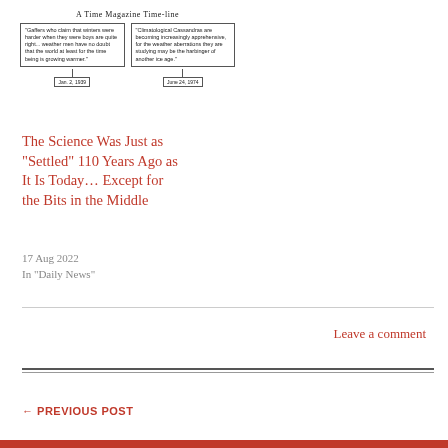[Figure (infographic): A Time Magazine Timeline showing two quote boxes connected by stems to dates: 'Jan. 2, 1939' and 'June 24, 1974'. First quote about winters being harder; second about Climatological Cassandras.]
The Science Was Just as “Settled” 110 Years Ago as It Is Today… Except for the Bits in the Middle
17 Aug 2022
In "Daily News"
Leave a comment
← PREVIOUS POST